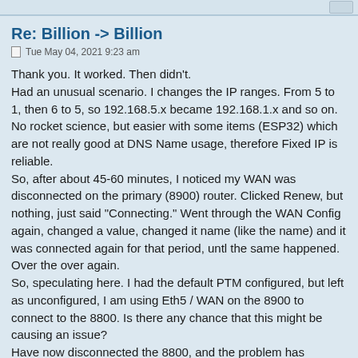Re: Billion -> Billion
Tue May 04, 2021 9:23 am
Thank you. It worked. Then didn't.
Had an unusual scenario. I changes the IP ranges. From 5 to 1, then 6 to 5, so 192.168.5.x became 192.168.1.x and so on. No rocket science, but easier with some items (ESP32) which are not really good at DNS Name usage, therefore Fixed IP is reliable.
So, after about 45-60 minutes, I noticed my WAN was disconnected on the primary (8900) router. Clicked Renew, but nothing, just said "Connecting." Went through the WAN Config again, changed a value, changed it name (like the name) and it was connected again for that period, untl the same happened. Over the over again.
So, speculating here. I had the default PTM configured, but left as unconfigured, I am using Eth5 / WAN on the 8900 to connect to the 8800. Is there any chance that this might be causing an issue?
Have now disconnected the 8800, and the problem has disappeared. Nothing within the logs, even though I have this set as "Debug."
I'll continue to play a little later when I can lose the internet for a bit.